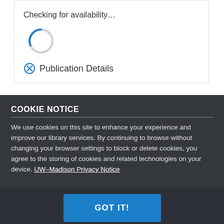Checking for availability…
[Figure (other): A circular loading spinner, partially blue on the bottom-left arc, gray/white on the rest, indicating a loading state.]
✕  Publication Details
COOKIE NOTICE
We use cookies on this site to enhance your experience and improve our library services. By continuing to browse without changing your browser settings to block or delete cookies, you agree to the storing of cookies and related technologies on your device. UW–Madison Privacy Notice
GOT IT!